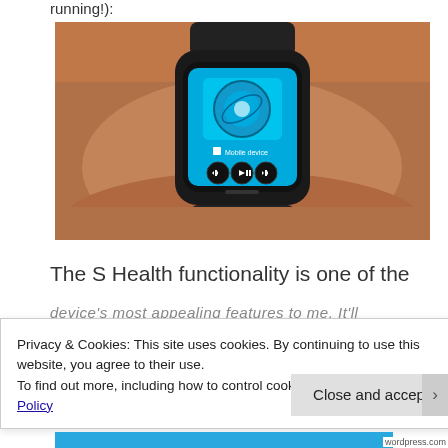running!):
[Figure (photo): A smartwatch (Samsung Gear S) worn on a wrist, displaying a music player interface with a cyan/blue screen showing a circular album art, 'Mobile device' text, and playback control buttons.]
The S Health functionality is one of the
device's most appealing features to me. It'll
Privacy & Cookies: This site uses cookies. By continuing to use this website, you agree to their use.
To find out more, including how to control cookies, see here: Cookie Policy
Close and accept